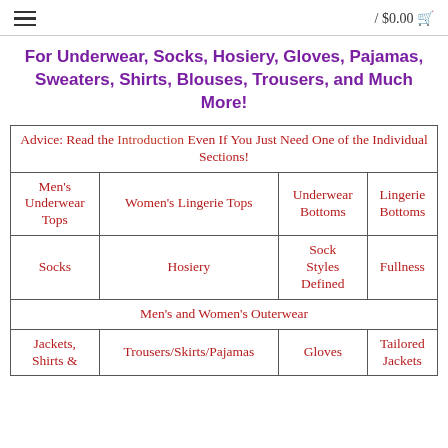/ $0.00
For Underwear, Socks, Hosiery, Gloves, Pajamas, Sweaters, Shirts, Blouses, Trousers, and Much More!
| Advice: Read the Introduction Even If You Just Need One of the Individual Sections! |
| Men's Underwear Tops | Women's Lingerie Tops | Underwear Bottoms | Lingerie Bottoms |
| Socks | Hosiery | Sock Styles Defined | Fullness |
| Men's and Women's Outerwear |
| Jackets, Shirts & | Trousers/Skirts/Pajamas | Gloves | Tailored Jackets |